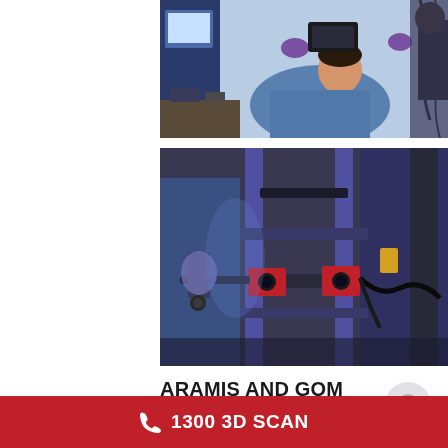[Figure (photo): Person in blue lab coat and purple gloves holding and examining a camera/sensor device, looking up at equipment in a laboratory setting]
[Figure (photo): Close-up of engineering/metrology equipment — ARAMIS or GOM Correlate optical measurement system with red camera units, black mechanical frame, mounted on a testing rig in a lab]
ARAMIS AND GOM CORRELATE: A SOLUTION
1300 3D SCAN